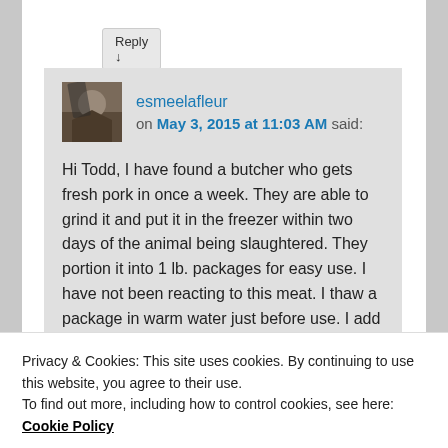Reply ↓
esmeelafleur on May 3, 2015 at 11:03 AM said:
Hi Todd, I have found a butcher who gets fresh pork in once a week. They are able to grind it and put it in the freezer within two days of the animal being slaughtered. They portion it into 1 lb. packages for easy use. I have not been reacting to this meat. I thaw a package in warm water just before use. I add butter to my meat for extra fat
Privacy & Cookies: This site uses cookies. By continuing to use this website, you agree to their use.
To find out more, including how to control cookies, see here: Cookie Policy
Close and accept
pan fry them. The main thing is to not cook